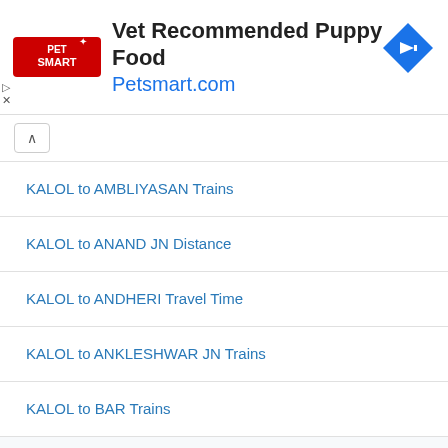[Figure (other): PetSmart advertisement banner with logo, text 'Vet Recommended Puppy Food', 'Petsmart.com', and a blue diamond navigation icon]
KALOL to AMBLIYASAN Trains
KALOL to ANAND JN Distance
KALOL to ANDHERI Travel Time
KALOL to ANKLESHWAR JN Trains
KALOL to BAR Trains
Trains Between KALOL to ASALPUR JOBNER
Distance Between KALOL to AUWA
Rail Travel KALOL to BAGRI NAGAR